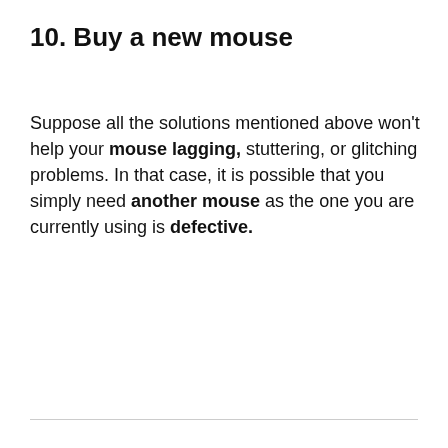10. Buy a new mouse
Suppose all the solutions mentioned above won't help your mouse lagging, stuttering, or glitching problems. In that case, it is possible that you simply need another mouse as the one you are currently using is defective.